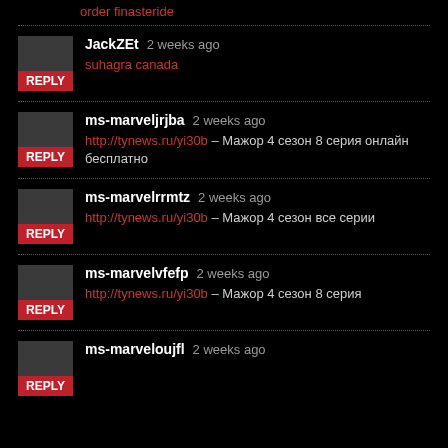order finasteride
JackZEt  2 weeks ago
suhagra canada
ms-marveljrjba  2 weeks ago
http://tynews.ru/yi30b – Мажор 4 сезон 8 серия онлайн бесплатно
ms-marvelrrmtz  2 weeks ago
http://tynews.ru/yi30b – Мажор 4 сезон все серии
ms-marvelvfefp  2 weeks ago
http://tynews.ru/yi30b – Мажор 4 сезон 8 серия
ms-marveloujfl  2 weeks ago